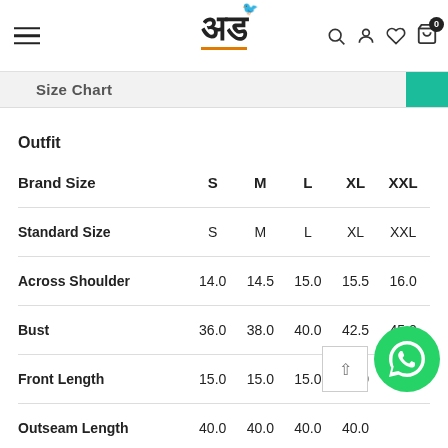Navigation bar with hamburger menu, logo (अड), search, user, heart, and cart (0) icons
Size Chart
Outfit
| Brand Size | S | M | L | XL | XXL |
| --- | --- | --- | --- | --- | --- |
| Standard Size | S | M | L | XL | XXL |
| Across Shoulder | 14.0 | 14.5 | 15.0 | 15.5 | 16.0 |
| Bust | 36.0 | 38.0 | 40.0 | 42.5 | 45.0 |
| Front Length | 15.0 | 15.0 | 15.0 | 15.0 | — |
| Outseam Length | 40.0 | 40.0 | 40.0 | 40.0 | — |
| To Fit Waist | 28.0 | 30.0 | 32.0 | 34.0 | 36.0 |